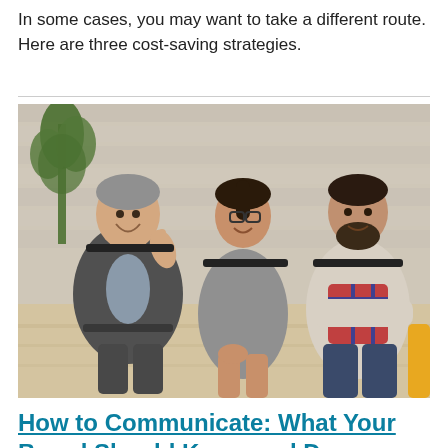In some cases, you may want to take a different route. Here are three cost-saving strategies.
[Figure (photo): Three people sitting in chairs in a casual meeting setting with a brick wall background. An older man in a suit gestures with one finger raised while smiling, a young woman with glasses and a ponytail sits in the middle smiling, and a bearded man with crossed arms sits on the right. A plant is visible in the background.]
How to Communicate: What Your Board Should Know and Do